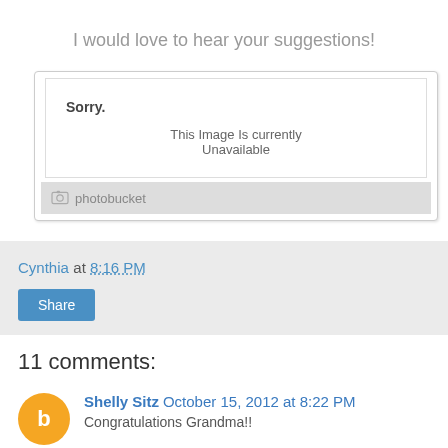I would love to hear your suggestions!
[Figure (screenshot): Photobucket image placeholder showing 'Sorry. This Image Is Currently Unavailable' with photobucket branding bar at bottom]
Cynthia at 8:16 PM
Share
11 comments:
Shelly Sitz October 15, 2012 at 8:22 PM
Congratulations Grandma!!